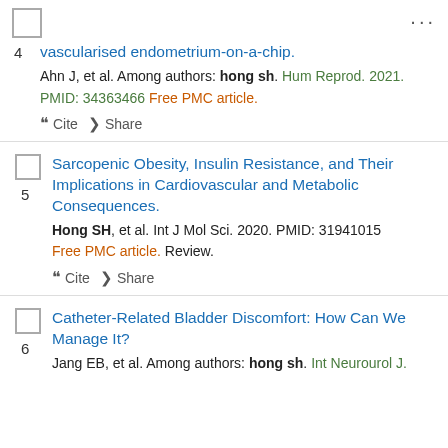vascularised endometrium-on-a-chip. Ahn J, et al. Among authors: hong sh. Hum Reprod. 2021. PMID: 34363466 Free PMC article.
Sarcopenic Obesity, Insulin Resistance, and Their Implications in Cardiovascular and Metabolic Consequences. Hong SH, et al. Int J Mol Sci. 2020. PMID: 31941015 Free PMC article. Review.
Catheter-Related Bladder Discomfort: How Can We Manage It? Jang EB, et al. Among authors: hong sh. Int Neurourol J.